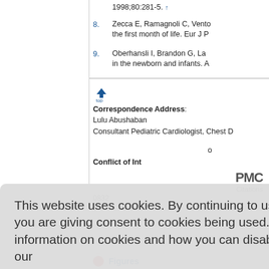1998;80:281-5. ↑
8. Zecca E, Ramagnoli C, Vento... the first month of life. Eur J P
9. Oberhansli I, Brandon G, La... in the newborn and infants. A
top Correspondence Address: Lulu Abushaban Consultant Pediatric Cardiologist, Chest D
Conflict of Int
[Figure (logo): PMC Citations logo]
0832
Figures
This website uses cookies. By continuing to use this website you are giving consent to cookies being used. For information on cookies and how you can disable them visit our Privacy and Cookie Policy. AGREE & PROCEED